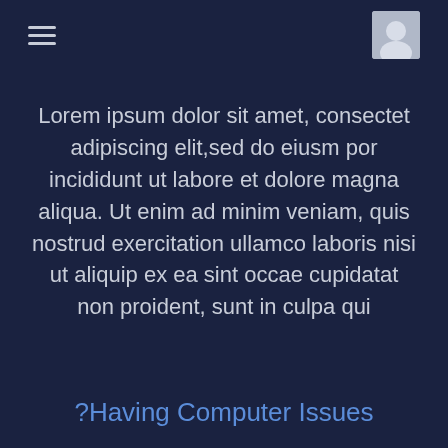[hamburger menu icon] [avatar/image icon]
Lorem ipsum dolor sit amet, consectet adipiscing elit,sed do eiusm por incididunt ut labore et dolore magna aliqua. Ut enim ad minim veniam, quis nostrud exercitation ullamco laboris nisi ut aliquip ex ea sint occae cupidatat non proident, sunt in culpa qui
?Having Computer Issues